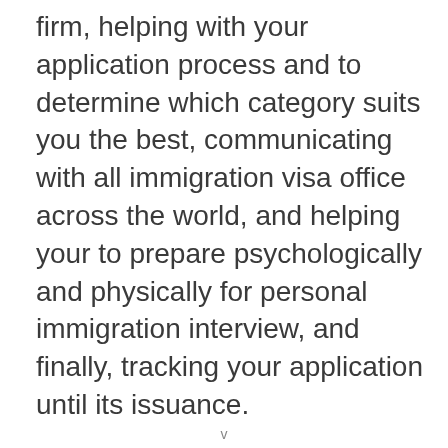firm, helping with your application process and to determine which category suits you the best, communicating with all immigration visa office across the world, and helping your to prepare psychologically and physically for personal immigration interview, and finally, tracking your application until its issuance.
So, if you are planning for an ‘Express Entry to Canada’, or wish to apply as